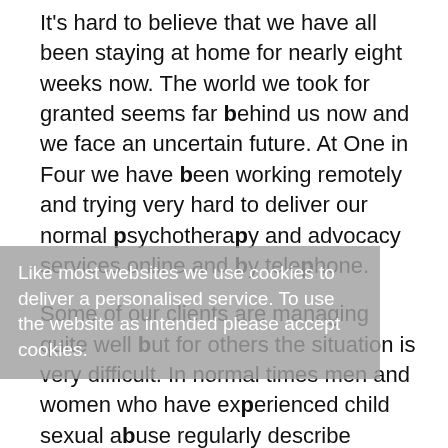It's hard to believe that we have all been staying at home for nearly eight weeks now.  The world we took for granted seems far behind us now and we face an uncertain future.  At One in Four we have been working remotely and trying very hard to deliver our normal psychotherapy and advocacy services online and by telephone.
Some of our clients are managing quite well but for others the situation is very difficult.  In normal times men and women who have experienced child sexual abuse regularly describe feelings of anxiety, depression, shame, self- hatred and loneliness.  They sometimes struggle with relationships and worry about how they are parenting their children.  Some have thoughts of self-harm.
Like most websites we use cookies to deliver a personalised service. To use the website as intended please accept cookies.
The self-isolation of Covid-19 has heightened these feelings for many people.  The ordinary routines and frameworks of daily life – work,